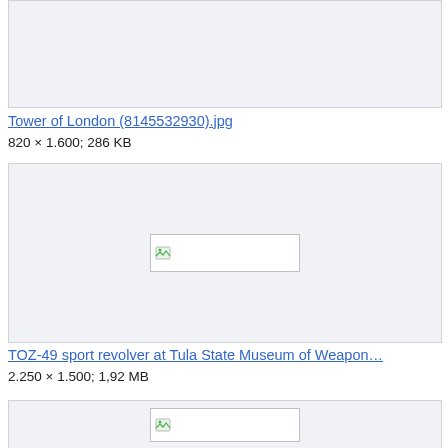[Figure (screenshot): Thumbnail placeholder box for Tower of London image, light gray background]
Tower of London (8145532930).jpg
820 × 1.600; 286 KB
[Figure (screenshot): Thumbnail placeholder box for TOZ-49 sport revolver image, light gray background with broken image icon]
TOZ-49 sport revolver at Tula State Museum of Weapon…
2.250 × 1.500; 1,92 MB
[Figure (screenshot): Partial thumbnail placeholder box at bottom, light gray background with broken image icon]